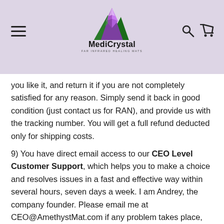[Figure (logo): MediCrystal logo with mountain/crystal graphic in purple and green, text MediCrystal, tagline FAR INFRARED HEALING MATS]
you like it, and return it if you are not completely satisfied for any reason. Simply send it back in good condition (just contact us for RAN), and provide us with the tracking number. You will get a full refund deducted only for shipping costs.
9) You have direct email access to our CEO Level Customer Support, which helps you to make a choice and resolves issues in a fast and effective way within several hours, seven days a week. I am Andrey, the company founder. Please email me at CEO@AmethystMat.com if any problem takes place, and